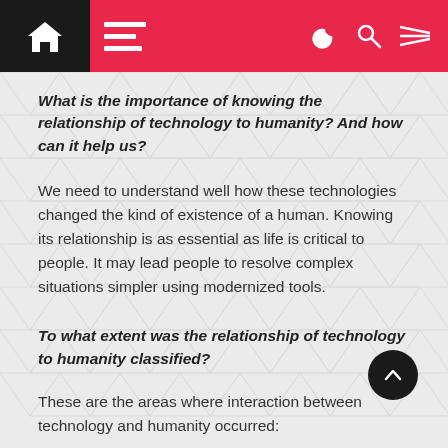Navigation bar with home, menu, dark mode, search, and settings icons
What is the importance of knowing the relationship of technology to humanity? And how can it help us?
We need to understand well how these technologies changed the kind of existence of a human. Knowing its relationship is as essential as life is critical to people. It may lead people to resolve complex situations simpler using modernized tools.
To what extent was the relationship of technology to humanity classified?
These are the areas where interaction between technology and humanity occurred: